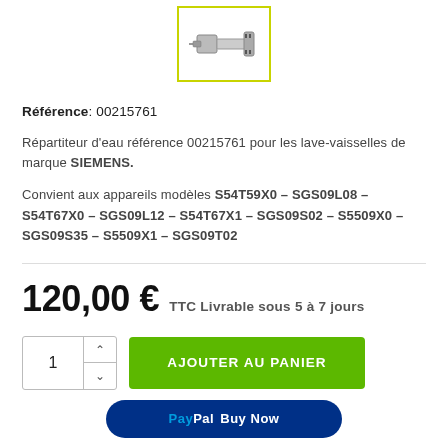[Figure (photo): Product photo of a water distributor part (répartiteur d'eau) reference 00215761, shown in a green-bordered square image box]
Référence: 00215761
Répartiteur d'eau référence 00215761 pour les lave-vaisselles de marque SIEMENS.
Convient aux appareils modèles S54T59X0 – SGS09L08 – S54T67X0 – SGS09L12 – S54T67X1 – SGS09S02 – S5509X0 – SGS09S35 – S5509X1 – SGS09T02
120,00 € TTC Livrable sous 5 à 7 jours
AJOUTER AU PANIER
PayPal Buy Now